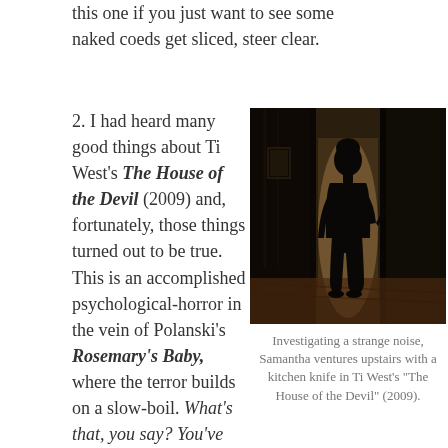this one if you just want to see some naked coeds get sliced, steer clear.
2. I had heard many good things about Ti West's The House of the Devil (2009) and, fortunately, those things turned out to be true. This is an accomplished psychological-horror in the vein of Polanski's Rosemary's Baby, where the terror builds on a slow-boil. What's that, you say? You've been invited to babysit for
[Figure (photo): Silhouette of a woman (Samantha) standing in a doorway holding a kitchen knife, photographed from behind in a dark hallway. From Ti West's 'The House of the Devil' (2009).]
Investigating a strange noise, Samantha ventures upstairs with a kitchen knife in Ti West's "The House of the Devil" (2009).